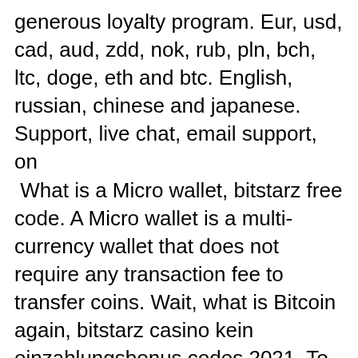generous loyalty program. Eur, usd, cad, aud, zdd, nok, rub, pln, bch, ltc, doge, eth and btc. English, russian, chinese and japanese. Support, live chat, email support, on
 What is a Micro wallet, bitstarz free code. A Micro wallet is a multi-currency wallet that does not require any transaction fee to transfer coins. Wait, what is Bitcoin again, bitstarz casino kein einzahlungsbonus codes 2021. To learn more about bitcoin, what out our What is Bitcoin guide. You may receive gems every 12 hours, these gems are used to level up your account, bitstarz sign up. As your account levels up you earn more Satoshi per hour. Ads4BTC Highest paying bitcoin faucet 2017. Earn up to 1300 Satoshi per click / Earn from your referrals Earn free Bitcoins for viewing ads (PTC), bitstarz bonus code ücretsiz döndürme. We will help you find the best bitcoin faucet today, so you